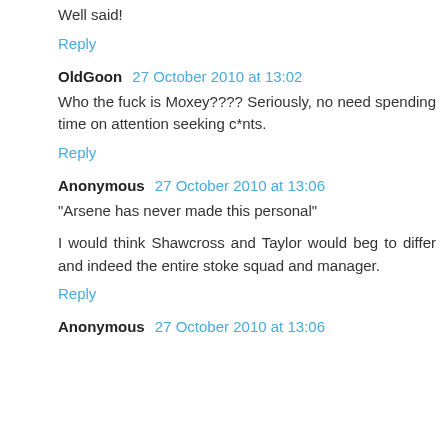Well said!
Reply
OldGoon 27 October 2010 at 13:02
Who the fuck is Moxey???? Seriously, no need spending time on attention seeking c*nts.
Reply
Anonymous 27 October 2010 at 13:06
"Arsene has never made this personal"
I would think Shawcross and Taylor would beg to differ and indeed the entire stoke squad and manager.
Reply
Anonymous 27 October 2010 at 13:06